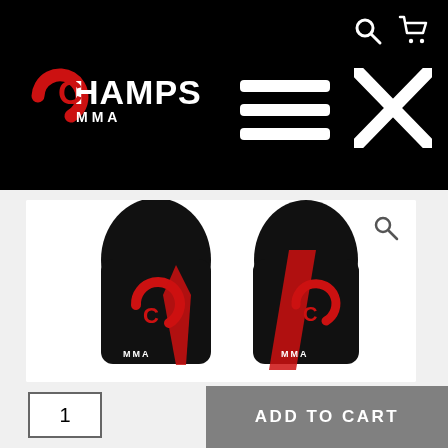[Figure (screenshot): Champs MMA website header with black background, showing the Champs MMA logo on the left, hamburger menu and X close icon in the center-right, and search and cart icons in the top right corner.]
[Figure (photo): Two black and red Champs MMA shin guards displayed side by side against a white background, showing the front and side views with the Champs MMA logo in red on black material.]
1
ADD TO CART